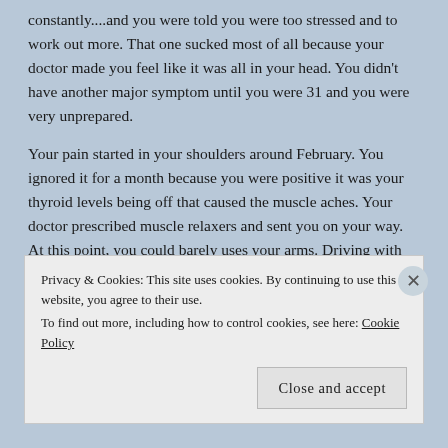constantly....and you were told you were too stressed and to work out more. That one sucked most of all because your doctor made you feel like it was all in your head. You didn't have another major symptom until you were 31 and you were very unprepared.
Your pain started in your shoulders around February. You ignored it for a month because you were positive it was your thyroid levels being off that caused the muscle aches. Your doctor prescribed muscle relaxers and sent you on your way. At this point, you could barely uses your arms. Driving with your thumb only became the norm. By Thanksgiving of
Privacy & Cookies: This site uses cookies. By continuing to use this website, you agree to their use.
To find out more, including how to control cookies, see here: Cookie Policy